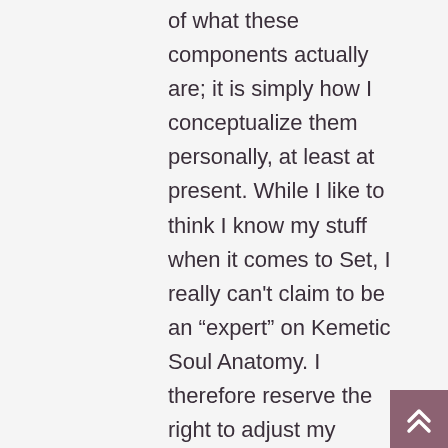of what these components actually are; it is simply how I conceptualize them personally, at least at present. While I like to think I know my stuff when it comes to Set, I really can't claim to be an "expert" on Kemetic Soul Anatomy. I therefore reserve the right to adjust my opinions on these topics as I acquire more knowledge over time.
I should also clarify that I am not a Kemetic reconstructionist exactly. My walk with Set is definitely influenced by Kemetic sources, but I have also been deeply influenced by Western occultism, which has been known to take some mighty big liberties with Egyptian thought. (Just look at Thelema.)